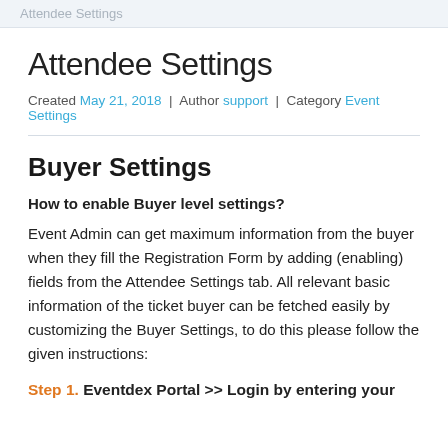Attendee Settings
Attendee Settings
Created May 21, 2018 | Author support | Category Event Settings
Buyer Settings
How to enable Buyer level settings?
Event Admin can get maximum information from the buyer when they fill the Registration Form by adding (enabling) fields from the Attendee Settings tab. All relevant basic information of the ticket buyer can be fetched easily by customizing the Buyer Settings, to do this please follow the given instructions:
Step 1. Eventdex Portal >> Login by entering your